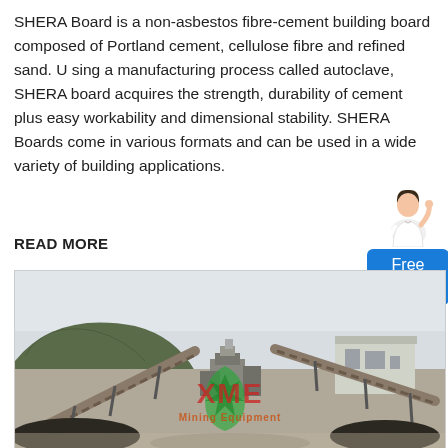SHERA Board is a non-asbestos fibre-cement building board composed of Portland cement, cellulose fibre and refined sand. U sing a manufacturing process called autoclave, SHERA board acquires the strength, durability of cement plus easy workability and dimensional stability. SHERA Boards come in various formats and can be used in a wide variety of building applications.
READ MORE
[Figure (photo): Outdoor industrial mining/quarrying site with conveyor belts, machinery, stockpiles of material, a hillside in the background, and an XME Mining Equipment watermark overlaid on the image.]